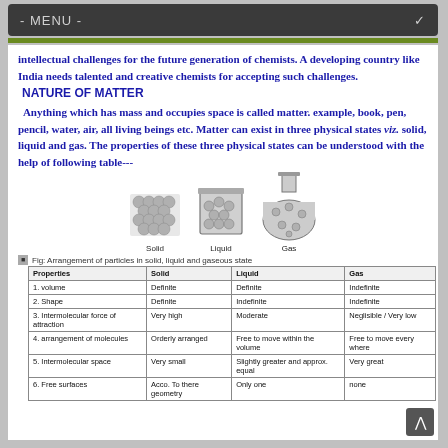- MENU -
intellectual challenges for the future generation of chemists. A developing country like India needs talented and creative chemists for accepting such challenges.
NATURE OF MATTER
Anything which has mass and occupies space is called matter. example, book, pen, pencil, water, air, all living beings etc. Matter can exist in three physical states viz. solid, liquid and gas. The properties of these three physical states can be understood with the help of following table---
[Figure (illustration): Three illustrations showing arrangement of particles in solid (closely packed spheres), liquid (beaker with spheres), and gaseous state (flask with scattered particles), labeled Solid, Liquid, Gas respectively.]
Fig: Arrangement of particles in solid, liquid and gaseous state
| Properties | Solid | Liquid | Gas |
| --- | --- | --- | --- |
| 1. volume | Definite | Definite | Indefinite |
| 2. Shape | Definite | Indefinite | Indefinite |
| 3. Intermolecular force of attraction | Very high | Moderate | Neglisible / Very low |
| 4. arrangement of molecules | Orderly arranged | Free to move within the volume | Free to move every where |
| 5. Intermolecular space | Very small | Slightly greater and approx. equal | Very great |
| 6. Free surfaces | Acco. To there geometry | Only one | none |